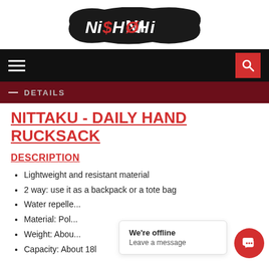[Figure (logo): Nishohi brand logo — stylized white and red text on a black brushstroke background]
Navigation bar with hamburger menu and search icon
DETAILS
NITTAKU - DAILY HAND RUCKSACK
DESCRIPTION
Lightweight and resistant material
2 way: use it as a backpack or a tote bag
Water repelle...
Material: Pol...
Weight: Abou...
Capacity: About 18l
We're offline
Leave a message